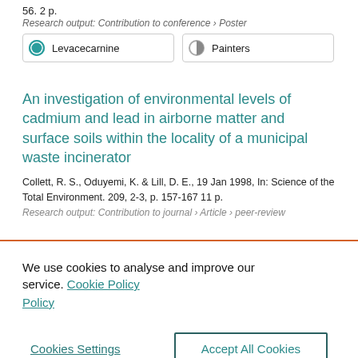56. 2 p.
Research output: Contribution to conference › Poster
[Figure (other): Two pill-shaped filter buttons: 'Levacecarnine' with a filled teal circle icon, and 'Painters' with a half-filled circle icon]
An investigation of environmental levels of cadmium and lead in airborne matter and surface soils within the locality of a municipal waste incinerator
Collett, R. S., Oduyemi, K. & Lill, D. E., 19 Jan 1998, In: Science of the Total Environment. 209, 2-3, p. 157-167 11 p.
Research output: Contribution to journal › Article › peer-review
We use cookies to analyse and improve our service. Cookie Policy
Cookies Settings
Accept All Cookies